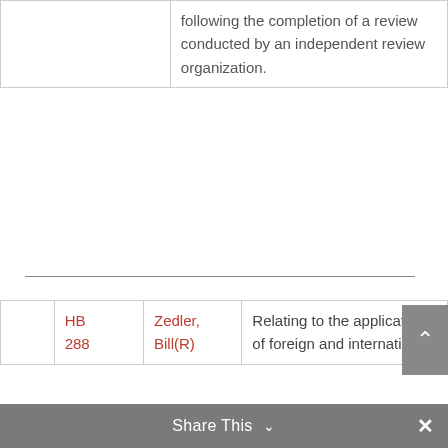|  | following the completion of a review conducted by an independent review organization. |
|  | HB 288 | Zedler, Bill(R) | Relating to the application of foreign and international |
Share This